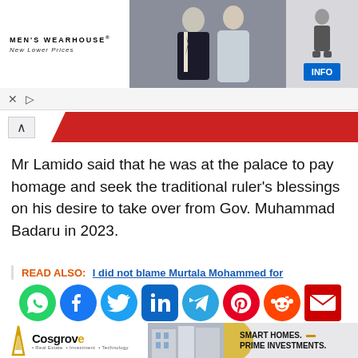[Figure (screenshot): Men's Wearhouse advertisement banner showing a couple in formal wear and a man in a suit, with INFO button]
Mr Lamido said that he was at the palace to pay homage and seek the traditional ruler's blessings on his desire to take over from Gov. Muhammad Badaru in 2023.
READ ALSO:  I did not blame Murtala Mohammed for
[Figure (infographic): Row of social media sharing icons: WhatsApp, Facebook, Twitter, LinkedIn, Telegram, Pinterest, Reddit, Email]
[Figure (screenshot): Cosgrove real estate advertisement: Smart Homes. Prime Investments.]